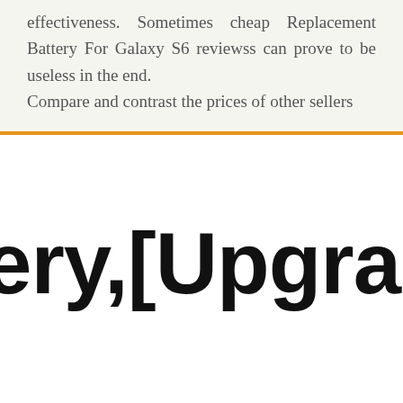effectiveness. Sometimes cheap Replacement Battery For Galaxy S6 reviewss can prove to be useless in the end. Compare and contrast the prices of other sellers
ery,[Upgraded] 42